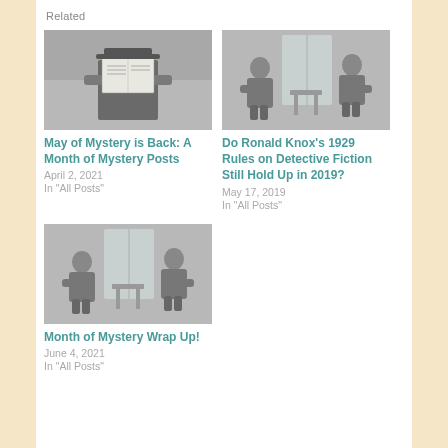Related
[Figure (photo): Black and white photo of a man holding a book in front of his face, wearing a hat and dark coat]
May of Mystery is Back: A Month of Mystery Posts
April 2, 2021
In "All Posts"
[Figure (illustration): Black and white illustration of two men sitting across from each other, one appears to be Sherlock Holmes style detective]
Do Ronald Knox's 1929 Rules on Detective Fiction Still Hold Up in 2019?
May 17, 2019
In "All Posts"
[Figure (illustration): Black and white illustration of two men sitting across from each other in chairs, detective fiction style artwork]
Month of Mystery Wrap Up!
June 4, 2021
In "All Posts"